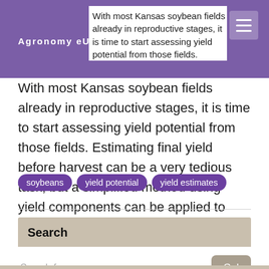Agronomy eUpdates
With most Kansas soybean fields already in reproductive stages, it is time to start assessing yield potential from those fields. Estimating final yield before harvest can be a very tedious task, but a simplified method using yield components can be applied to start setting yield expectations.
soybeans
yield potential
yield estimates
Search
Search for...